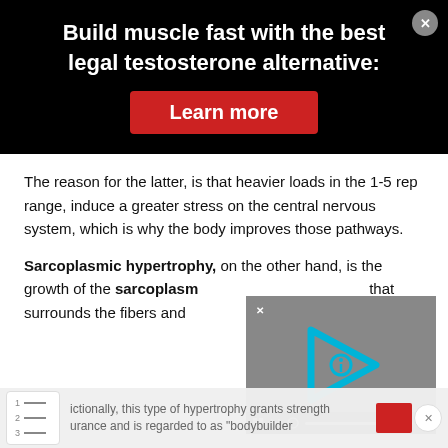Build muscle fast with the best legal testosterone alternative:
[Figure (other): Red 'Learn more' call-to-action button on black ad banner]
The reason for the latter, is that heavier loads in the 1-5 rep range, induce a greater stress on the central nervous system, which is why the body improves those pathways.
Sarcoplasmic hypertrophy, on the other hand, is the growth of the sarcoplasm that surrounds the fibers and proteins.
[Figure (screenshot): Video player overlay with cyan play button icon on gray background, with video controls bar at bottom]
ictionally, this type of hypertrophy grants strength
urance and is regarded to as "bodybuilder